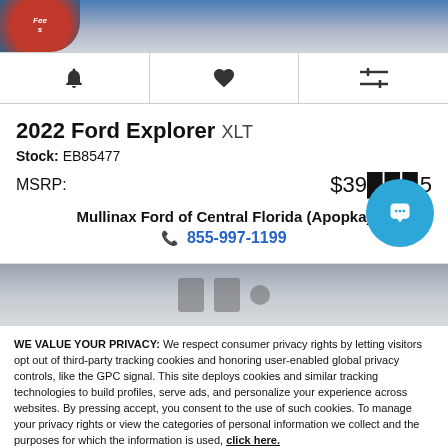[Figure (screenshot): Top banner with logo partially visible, blue and gray gradient]
[Figure (screenshot): Icon toolbar row with bell, heart, and filter/compare icons]
2022 Ford Explorer XLT
Stock: EB85477
MSRP: $39,995
Mullinax Ford of Central Florida (Apopka)
855-997-1199
[Figure (screenshot): Mid section vehicle image loading placeholder with gray gradient and placeholder icons]
WE VALUE YOUR PRIVACY: We respect consumer privacy rights by letting visitors opt out of third-party tracking cookies and honoring user-enabled global privacy controls, like the GPC signal. This site deploys cookies and similar tracking technologies to build profiles, serve ads, and personalize your experience across websites. By pressing accept, you consent to the use of such cookies. To manage your privacy rights or view the categories of personal information we collect and the purposes for which the information is used, click here.
Language: English
Powered by ComplyAuto
Accept and Continue →
Privacy Policy